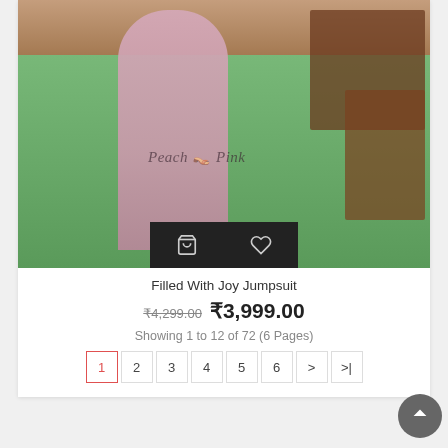[Figure (photo): A woman wearing a pink ruffled off-shoulder jumpsuit standing outdoors on green grass with a wooden fence/railing and dark wood garden furniture (table and chairs) in the background. A 'Peach Pink' watermark/brand logo is visible on the image.]
Filled With Joy Jumpsuit
₹4,299.00 ₹3,999.00
Showing 1 to 12 of 72 (6 Pages)
1 2 3 4 5 6 > >|